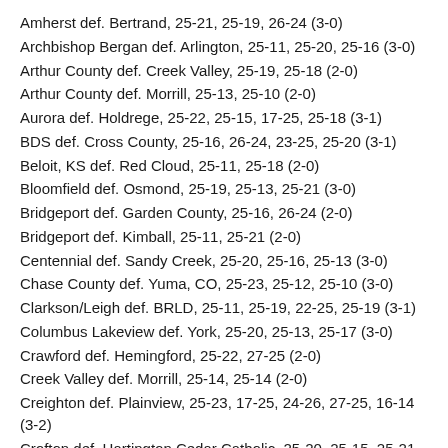Amherst def. Bertrand, 25-21, 25-19, 26-24 (3-0)
Archbishop Bergan def. Arlington, 25-11, 25-20, 25-16 (3-0)
Arthur County def. Creek Valley, 25-19, 25-18 (2-0)
Arthur County def. Morrill, 25-13, 25-10 (2-0)
Aurora def. Holdrege, 25-22, 25-15, 17-25, 25-18 (3-1)
BDS def. Cross County, 25-16, 26-24, 23-25, 25-20 (3-1)
Beloit, KS def. Red Cloud, 25-11, 25-18 (2-0)
Bloomfield def. Osmond, 25-19, 25-13, 25-21 (3-0)
Bridgeport def. Garden County, 25-16, 26-24 (2-0)
Bridgeport def. Kimball, 25-11, 25-21 (2-0)
Centennial def. Sandy Creek, 25-20, 25-16, 25-13 (3-0)
Chase County def. Yuma, CO, 25-23, 25-12, 25-10 (3-0)
Clarkson/Leigh def. BRLD, 25-11, 25-19, 22-25, 25-19 (3-1)
Columbus Lakeview def. York, 25-20, 25-13, 25-17 (3-0)
Crawford def. Hemingford, 25-22, 27-25 (2-0)
Creek Valley def. Morrill, 25-14, 25-14 (2-0)
Creighton def. Plainview, 25-23, 17-25, 24-26, 27-25, 16-14 (3-2)
Crofton def. Hartington Cedar Catholic, 25-20, 25-15, 25-21 (3-0)